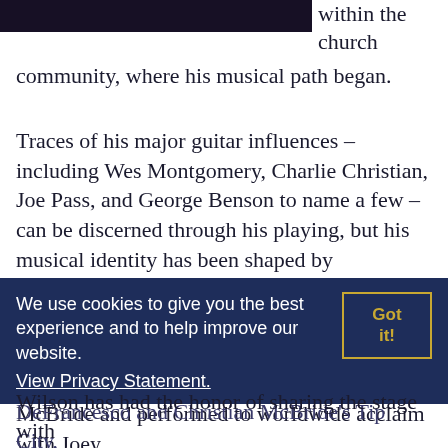[Figure (photo): Dark photo of a musician, cropped at top of page, showing upper portion only]
within the church community, where his musical path began.
Traces of his major guitar influences – including Wes Montgomery, Charlie Christian, Joe Pass, and George Benson to name a few – can be discerned through his playing, but his musical identity has been shaped by everything from gospel and blues to traditional jazz, hip-hop and horn players like Sonny Rollins and Joe Henderson.
After graduating from Hiram College, Wilson made his recording debut with pianist Joe McBride and performed to worldwide acclaim with Joey DeFrancesco and Christian McBride's Tip City, eventually recording his debut as a leader To Whom It May Concern.
We use cookies to give you the best experience and to help improve our website. View Privacy Statement.
Wilson has had the honor of sharing the stage with